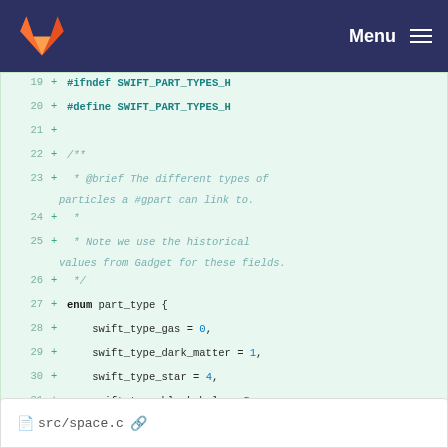[Figure (screenshot): GitLab navigation bar with orange fox logo and Menu hamburger button on dark blue background]
19  + #ifndef SWIFT_PART_TYPES_H
20  + #define SWIFT_PART_TYPES_H
21  +
22  + /**
23  +  * @brief The different types of particles a #gpart can link to.
       particles a #gpart can link to.
24  +  *
25  +  * Note we use the historical values from Gadget for these fields.
       values from Gadget for these fields.
26  +  */
27  + enum part_type {
28  +     swift_type_gas = 0,
29  +     swift_type_dark_matter = 1,
30  +     swift_type_star = 4,
31  +     swift_type_black_hole = 5
32  + } __attribute__((packed));
33  +
34  + #endif /* SWIFT_PART_TYPES_H */
[Figure (screenshot): Bottom of page showing partial file listing with file icon and src/space.c filename]